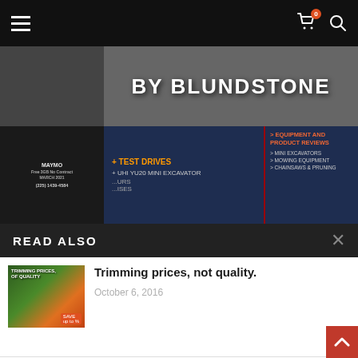Navigation bar with hamburger menu, cart with badge 0, and search icon
[Figure (screenshot): BY BLUNDSTONE advertisement banner with test drives and equipment reviews sidebar]
READ ALSO
[Figure (photo): Trimming prices, not quality article thumbnail - Husqvarna image]
Trimming prices, not quality.
October 6, 2016
[Figure (photo): Husqvarna 570BTS blower article thumbnail]
Husqvarna's 570BTS blower cleans up in more...
March 9, 2017
[Figure (photo): Wacker Neuson Dumpers article thumbnail]
Wacker Neuson Dumpers Doing More in Less...
November 5, 2018